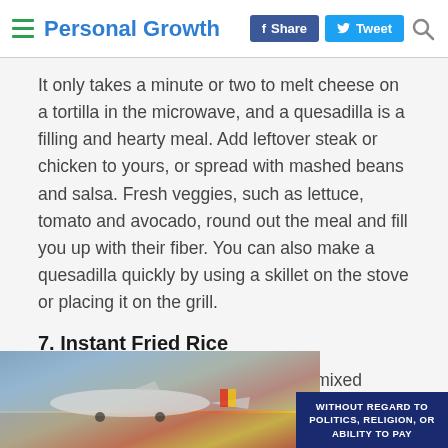Personal Growth | f Share | Tweet
It only takes a minute or two to melt cheese on a tortilla in the microwave, and a quesadilla is a filling and hearty meal. Add leftover steak or chicken to yours, or spread with mashed beans and salsa. Fresh veggies, such as lettuce, tomato and avocado, round out the meal and fill you up with their fiber. You can also make a quesadilla quickly by using a skillet on the stove or placing it on the grill.
7. Instant Fried Rice
Toss instant fried rice with steamed mixed vegetables and a scrambled egg and you have
[Figure (photo): Advertisement banner showing an airplane on the tarmac being loaded, with a dark blue overlay reading WITHOUT REGARD TO POLITICS, RELIGION, OR ABILITY TO PAY]